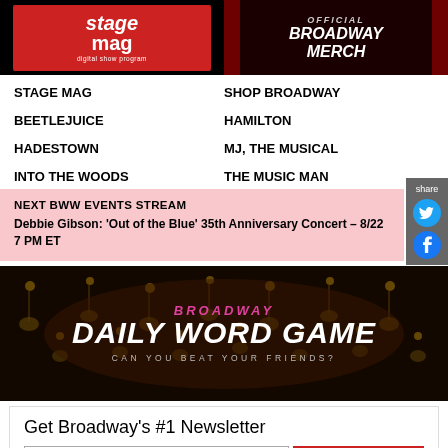[Figure (logo): Stage Mag digital show program logo on red and black background]
[Figure (logo): Official Broadway Merch banner with curtains]
STAGE MAG
SHOP BROADWAY
BEETLEJUICE
HAMILTON
HADESTOWN
MJ, THE MUSICAL
INTO THE WOODS
THE MUSIC MAN
NEXT BWW EVENTS STREAM
Debbie Gibson: 'Out of the Blue' 35th Anniversary Concert – 8/22
7 PM ET
[Figure (advertisement): Broadway Daily Word Game banner: 'Can you beat your friends?']
Get Broadway's #1 Newsletter